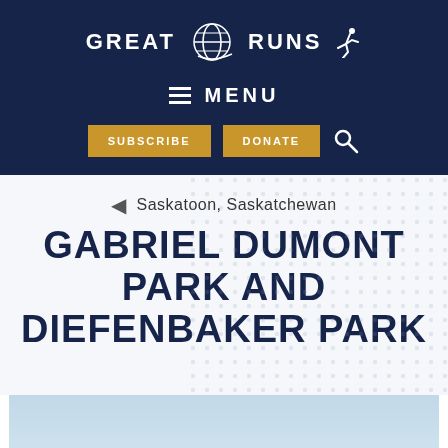[Figure (logo): Great Runs logo with globe icon and running figure, white on dark navy background]
≡ MENU
SUBSCRIBE   DONATE
◀ Saskatoon, Saskatchewan
GABRIEL DUMONT PARK AND DIEFENBAKER PARK
[Figure (photo): Outdoor park scene with light blue sky, stadium or park structure silhouette, bare trees, and light poles]